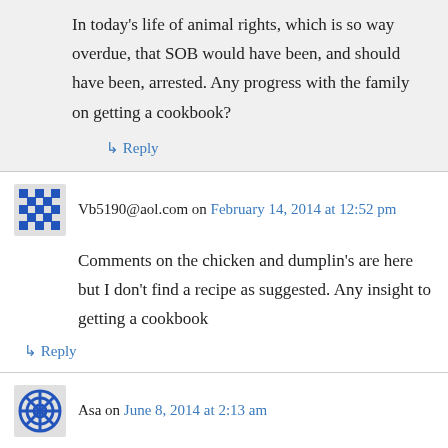In today's life of animal rights, which is so way overdue, that SOB would have been, and should have been, arrested. Any progress with the family on getting a cookbook?
↳ Reply
Vb5190@aol.com on February 14, 2014 at 12:52 pm
Comments on the chicken and dumplin's are here but I don't find a recipe as suggested. Any insight to getting a cookbook
↳ Reply
Asa on June 8, 2014 at 2:13 am